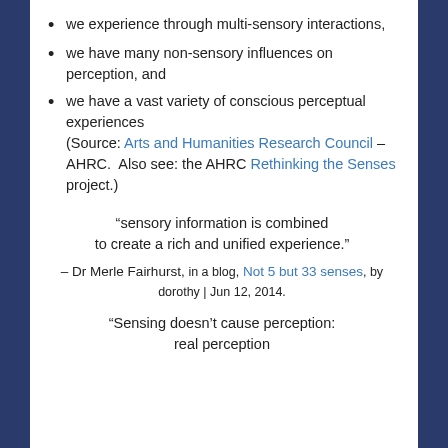we experience through multi-sensory interactions,
we have many non-sensory influences on perception, and
we have a vast variety of conscious perceptual experiences (Source: Arts and Humanities Research Council – AHRC.  Also see: the AHRC Rethinking the Senses project.)
“sensory information is combined to create a rich and unified experience.” – Dr Merle Fairhurst, in a blog, Not 5 but 33 senses, by dorothy | Jun 12, 2014.
“Sensing doesn’t cause perception: real perception